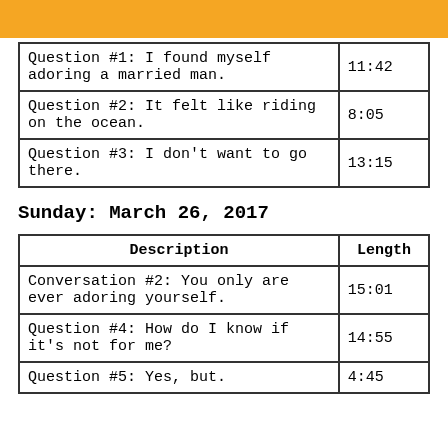| Description | Length |
| --- | --- |
| Question #1: I found myself adoring a married man. | 11:42 |
| Question #2: It felt like riding on the ocean. | 8:05 |
| Question #3: I don't want to go there. | 13:15 |
Sunday: March 26, 2017
| Description | Length |
| --- | --- |
| Conversation #2: You only are ever adoring yourself. | 15:01 |
| Question #4: How do I know if it's not for me? | 14:55 |
| Question #5: Yes, but. | 4:45 |